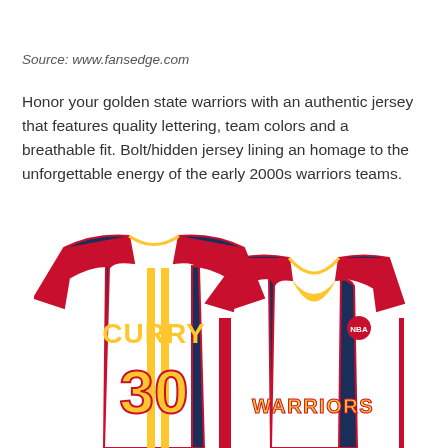Source: www.fansedge.com
Honor your golden state warriors with an authentic jersey that features quality lettering, team colors and a breathable fit. Bolt/hidden jersey lining an homage to the unforgettable energy of the early 2000s warriors teams.
[Figure (photo): Two Golden State Warriors #30 Curry basketball jerseys in navy blue with gold and red accents. The left jersey shows the back with 'CURRY' and '30', the right shows the front with 'WARRIORS' and the NBA logo.]